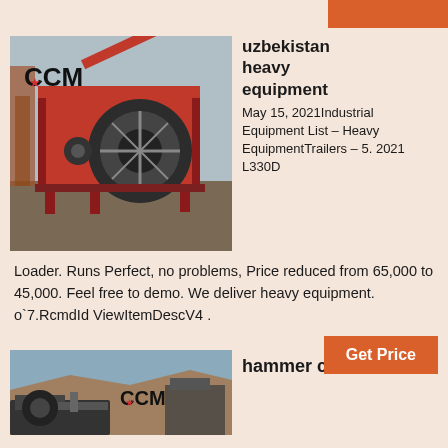[Figure (photo): Industrial heavy equipment - sand washing machine with CCM logo, red machinery on construction site]
uzbekistan heavy equipment
May 15, 2021Industrial Equipment List – Heavy EquipmentTrailers – 5. 2021 L330D Loader. Runs Perfect, no problems, Price reduced from 65,000 to 45,000. Feel free to demo. We deliver heavy equipment. o`7.RcmdId ViewItemDescV4 .
Get Price
[Figure (photo): Hammer crusher equipment on rocky hillside with CCM logo]
hammer crusher